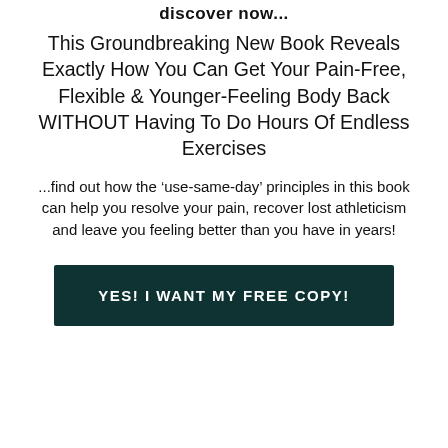discover now...
This Groundbreaking New Book Reveals Exactly How You Can Get Your Pain-Free, Flexible & Younger-Feeling Body Back WITHOUT Having To Do Hours Of Endless Exercises
...find out how the ‘use-same-day’ principles in this book can help you resolve your pain, recover lost athleticism and leave you feeling better than you have in years!
YES! I WANT MY FREE COPY!